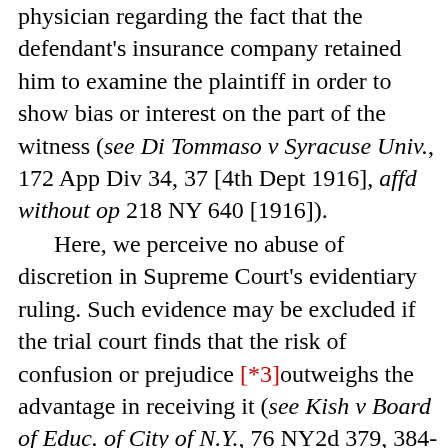physician regarding the fact that the defendant's insurance company retained him to examine the plaintiff in order to show bias or interest on the part of the witness (see Di Tommaso v Syracuse Univ., 172 App Div 34, 37 [4th Dept 1916], affd without op 218 NY 640 [1916]).
Here, we perceive no abuse of discretion in Supreme Court's evidentiary ruling. Such evidence may be excluded if the trial court finds that the risk of confusion or prejudice [*3]outweighs the advantage in receiving it (see Kish v Board of Educ. of City of N.Y., 76 NY2d 379, 384-385 [1990]). In this case, plaintiff speculated during the colloquy that a verdict in defendant's favor could result in a $100 benefit—at the time of the expert's death, disability or retirement—based on the expert's shareholder status in OMSNIC